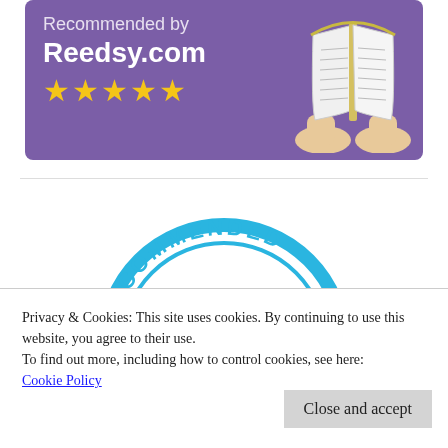[Figure (illustration): Purple banner with 'Recommended by Reedsy.com' text, five gold stars, and a book illustration held by hands on the right side]
[Figure (illustration): Blue circular stamp/badge with 'RECOMMENDED' text arched at top]
Privacy & Cookies: This site uses cookies. By continuing to use this website, you agree to their use.
To find out more, including how to control cookies, see here:
Cookie Policy
Close and accept